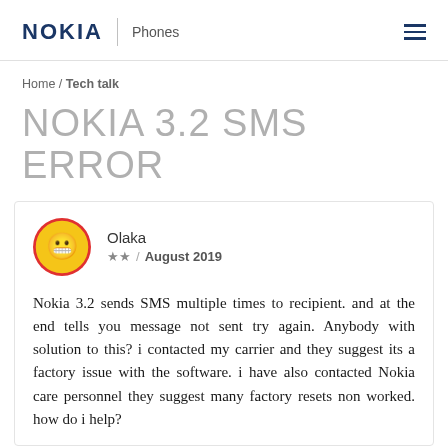NOKIA | Phones
Home / Tech talk
NOKIA 3.2 SMS ERROR
Olaka ★★ / August 2019
Nokia 3.2 sends SMS multiple times to recipient. and at the end tells you message not sent try again. Anybody with solution to this? i contacted my carrier and they suggest its a factory issue with the software. i have also contacted Nokia care personnel they suggest many factory resets non worked. how do i help?